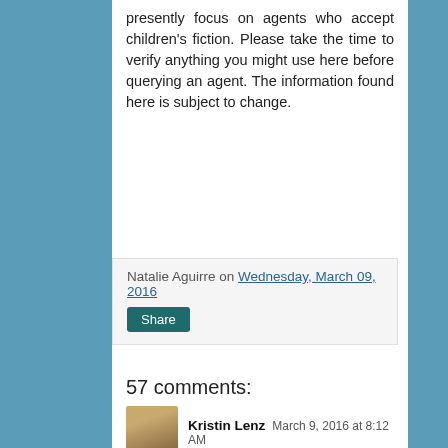presently focus on agents who accept children's fiction. Please take the time to verify anything you might use here before querying an agent. The information found here is subject to change.
Natalie Aguirre on Wednesday, March 09, 2016
Share
57 comments:
Kristin Lenz  March 9, 2016 at 8:12 AM
Great to see an agent spotlight again, Natalie! I know several authors represented by this agency, and both Kevan and Kathleen worked together to give me some great feedback a few